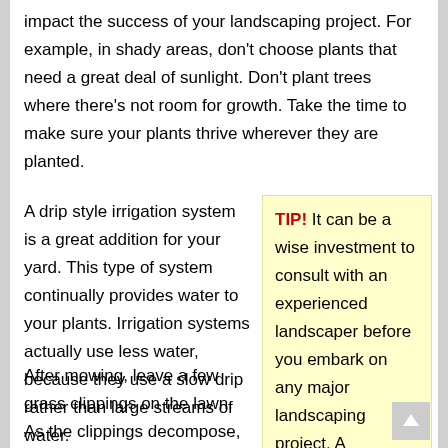impact the success of your landscaping project. For example, in shady areas, don't choose plants that need a great deal of sunlight. Don't plant trees where there's not room for growth. Take the time to make sure your plants thrive wherever they are planted.
A drip style irrigation system is a great addition for your yard. This type of system continually provides water to your plants. Irrigation systems actually use less water, because they use a slow drip rather than large streams of water.
TIP! It can be a wise investment to consult with an experienced landscaper before you embark on any major landscaping project. A professional with a lot of experience can give you advice that saves you time and money when all things are considered.
After mowing, leave a few grass clippings on the lawn. As the clippings decompose, their nutrients will seep back into the ground, rendering fertilizer